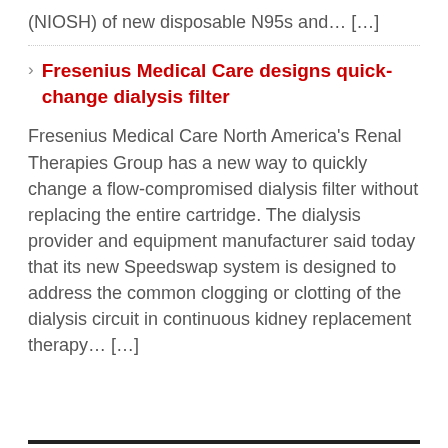(NIOSH) of new disposable N95s and… […]
Fresenius Medical Care designs quick-change dialysis filter
Fresenius Medical Care North America's Renal Therapies Group has a new way to quickly change a flow-compromised dialysis filter without replacing the entire cartridge. The dialysis provider and equipment manufacturer said today that its new Speedswap system is designed to address the common clogging or clotting of the dialysis circuit in continuous kidney replacement therapy… […]